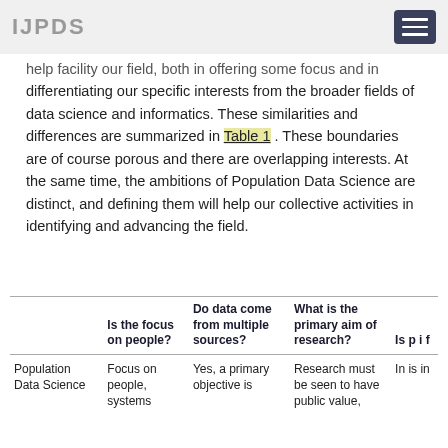IJPDS
help facility our field, both in offering some focus and in differentiating our specific interests from the broader fields of data science and informatics. These similarities and differences are summarized in Table 1 . These boundaries are of course porous and there are overlapping interests. At the same time, the ambitions of Population Data Science are distinct, and defining them will help our collective activities in identifying and advancing the field.
|  | Is the focus on people? | Do data come from multiple sources? | What is the primary aim of research? | Is...p...i...f... |
| --- | --- | --- | --- | --- |
| Population Data Science | Focus on people, systems | Yes, a primary objective is | Research must be seen to have public value, | In... is... in... |